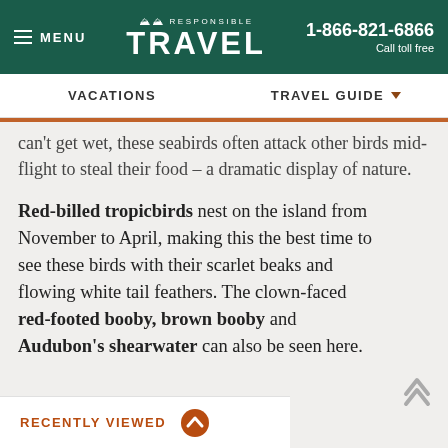MENU | RESPONSIBLE TRAVEL | 1-866-821-6866 Call toll free
VACATIONS | TRAVEL GUIDE
can't get wet, these seabirds often attack other birds mid-flight to steal their food – a dramatic display of nature.
Red-billed tropicbirds nest on the island from November to April, making this the best time to see these birds with their scarlet beaks and flowing white tail feathers. The clown-faced red-footed booby, brown booby and Audubon's shearwater can also be seen here.
RECENTLY VIEWED